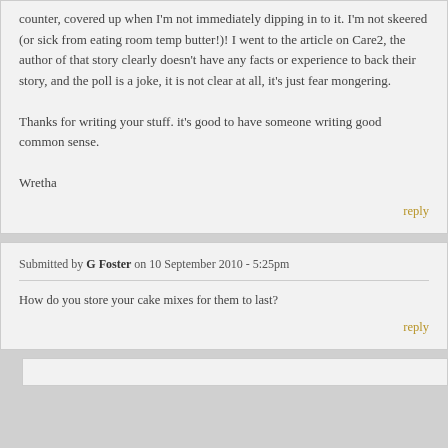counter, covered up when I'm not immediately dipping in to it. I'm not skeered (or sick from eating room temp butter!)! I went to the article on Care2, the author of that story clearly doesn't have any facts or experience to back their story, and the poll is a joke, it is not clear at all, it's just fear mongering.

Thanks for writing your stuff. it's good to have someone writing good common sense.

Wretha
reply
Submitted by G Foster on 10 September 2010 - 5:25pm
How do you store your cake mixes for them to last?
reply